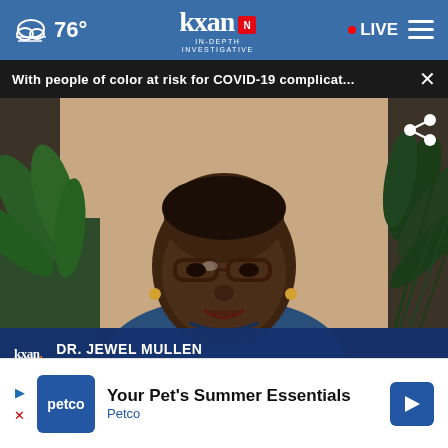76° | KXAN IN-DEPTH INVESTIGATIVE | LIVE
With people of color at risk for COVID-19 complicat...
[Figure (screenshot): Video screenshot of Dr. Jewel Mullen speaking on a video call. She is a Black woman wearing glasses and a blue jacket, with plants visible in the background. The KXAN lower-third graphic identifies her as DR. JEWEL MULLEN, DELL MEDICAL SCHOOL ASSOCIATE DEAN FOR HEALTH EQUITY.]
DR. JEWEL MULLEN
DELL MEDICAL SCHOOL ASSOCIATE DEAN FOR HEALTH EQUITY
[Figure (infographic): Partial yellow banner at bottom of video with a round dark close/X button]
Your Pet's Summer Essentials
Petco